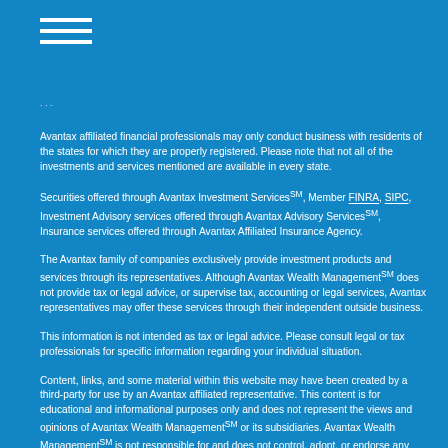≡ (hamburger menu icon)
Avantax affiliated financial professionals may only conduct business with residents of the states for which they are properly registered. Please note that not all of the investments and services mentioned are available in every state.
Securities offered through Avantax Investment Services℠, Member FINRA, SIPC, Investment Advisory services offered through Avantax Advisory Services℠, Insurance services offered through Avantax Affiliated Insurance Agency.
The Avantax family of companies exclusively provide investment products and services through its representatives. Although Avantax Wealth Management℠ does not provide tax or legal advice, or supervise tax, accounting or legal services, Avantax representatives may offer these services through their independent outside business.
This information is not intended as tax or legal advice. Please consult legal or tax professionals for specific information regarding your individual situation.
Content, links, and some material within this website may have been created by a third-party for use by an Avantax affiliated representative. This content is for educational and informational purposes only and does not represent the views and opinions of Avantax Wealth Management℠ or its subsidiaries. Avantax Wealth Management℠ is not responsible for and does not control, adopt, or endorse any